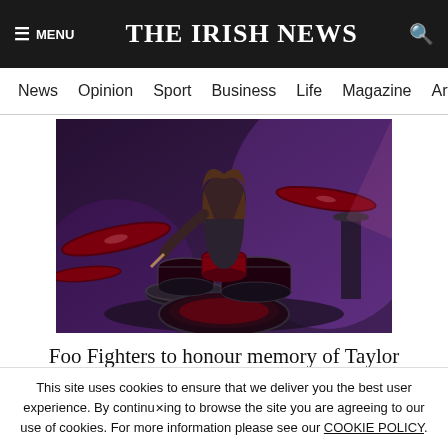THE IRISH NEWS
News | Opinion | Sport | Business | Life | Magazine | Arts
[Figure (photo): A drummer performing at a concert, playing a dark drum kit with cymbals, stage lighting in purple and red tones, long-haired performer visible in the background.]
Foo Fighters to honour memory of Taylor Hawkins at special Wembley concert
This site uses cookies to ensure that we deliver you the best user experience. By continuing to browse the site you are agreeing to our use of cookies. For more information please see our COOKIE POLICY.